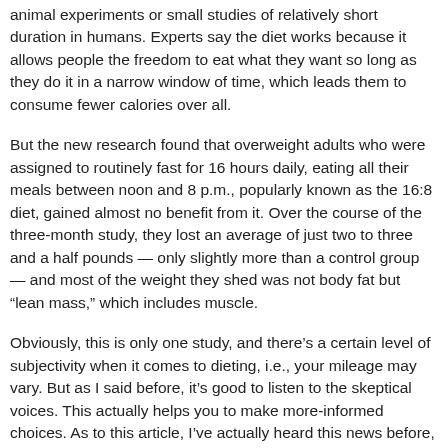animal experiments or small studies of relatively short duration in humans. Experts say the diet works because it allows people the freedom to eat what they want so long as they do it in a narrow window of time, which leads them to consume fewer calories over all.
But the new research found that overweight adults who were assigned to routinely fast for 16 hours daily, eating all their meals between noon and 8 p.m., popularly known as the 16:8 diet, gained almost no benefit from it. Over the course of the three-month study, they lost an average of just two to three and a half pounds — only slightly more than a control group — and most of the weight they shed was not body fat but “lean mass,” which includes muscle.
Obviously, this is only one study, and there's a certain level of subjectivity when it comes to dieting, i.e., your mileage may vary. But as I said before, it's good to listen to the skeptical voices. This actually helps you to make more-informed choices. As to this article, I've actually heard this news before, that fasting can cause the body to cannibalize its own muscles. So this study is nothing new, but one